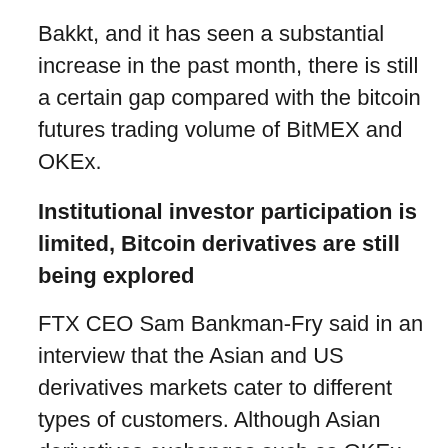Bakkt, and it has seen a substantial increase in the past month, there is still a certain gap compared with the bitcoin futures trading volume of BitMEX and OKEx.
Institutional investor participation is limited, Bitcoin derivatives are still being explored
FTX CEO Sam Bankman-Fry said in an interview that the Asian and US derivatives markets cater to different types of customers. Although Asian derivatives exchanges such as OKEx and BitMEX are more efficient in guiding new users to retail traders, the US market is dominated by regulated exchanges such as CME Group and is more suitable for traditional Wall Street institutions. Together, these two markets are designed to serve two different types of users. "One of the structures is perfect for crypto